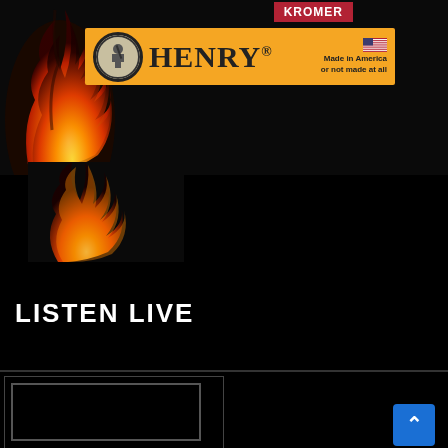[Figure (screenshot): Top section showing a dark background with fire/flame imagery on the left side, a KROMER red badge in the top right, and a Henry Rifles banner (orange/yellow background with Henry logo circle, HENRY text, US flag, and tagline 'Made in America or not made at all'). Below the banner are more flames on a black background.]
LISTEN LIVE
[Figure (screenshot): Bottom section showing two panel areas side by side on a black background, with a blue scroll-to-top button (chevron/arrow up icon) in the bottom right corner.]